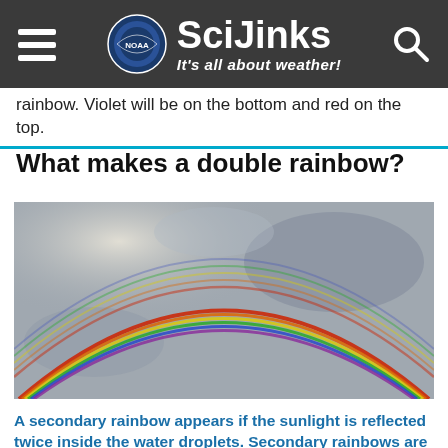SciJinks – It's all about weather! (NOAA)
rainbow. Violet will be on the bottom and red on the top.
What makes a double rainbow?
[Figure (photo): Photograph of a double rainbow arcing across a grey sky, showing two distinct rainbow bands.]
A secondary rainbow appears if the sunlight is reflected twice inside the water droplets. Secondary rainbows are fainter, and